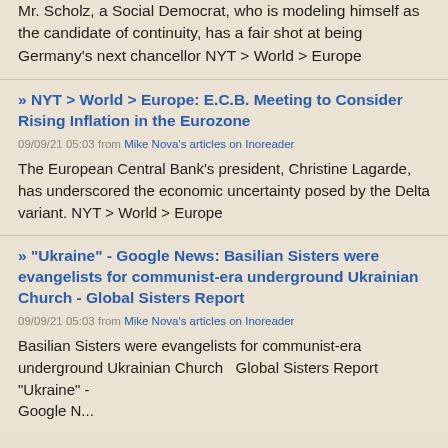Mr. Scholz, a Social Democrat, who is modeling himself as the candidate of continuity, has a fair shot at being Germany's next chancellor NYT > World > Europe
» NYT > World > Europe: E.C.B. Meeting to Consider Rising Inflation in the Eurozone
09/09/21 05:03 from Mike Nova's articles on Inoreader
The European Central Bank's president, Christine Lagarde, has underscored the economic uncertainty posed by the Delta variant. NYT > World > Europe
» "Ukraine" - Google News: Basilian Sisters were evangelists for communist-era underground Ukrainian Church - Global Sisters Report
09/09/21 05:03 from Mike Nova's articles on Inoreader
Basilian Sisters were evangelists for communist-era underground Ukrainian Church   Global Sisters Report "Ukraine" - Google N...